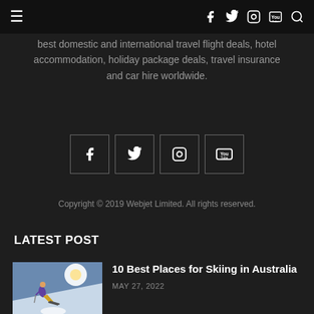Navigation bar with hamburger menu and social icons (f, twitter, instagram, youtube, search)
best domestic and international travel flight deals, hotel accommodation, holiday package deals, travel insurance and car hire worldwide.
[Figure (other): Social media icon boxes: Facebook, Twitter, Instagram, YouTube]
Copyright © 2019 Webjet Limited. All rights reserved.
LATEST POST
[Figure (photo): Skier on snow slope with bright sunlight in background]
10 Best Places for Skiing in Australia
MAY 27, 2022